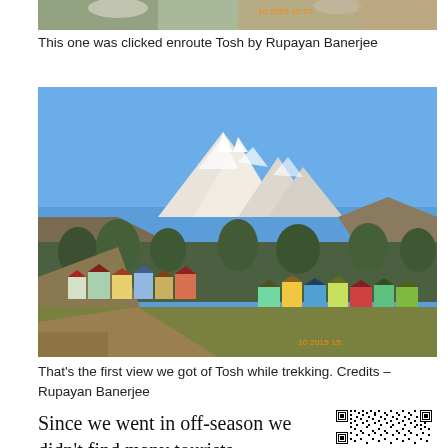[Figure (photo): Partial top strip of a mountain/nature photo taken enroute Tosh with a timestamp overlay]
This one was clicked enroute Tosh by Rupayan Banerjee
[Figure (photo): Mountain village of Tosh seen during trekking — colorful buildings in the valley with snow-capped peaks and blue sky in the background. Timestamp overlay visible bottom right.]
That's the first view we got of Tosh while trekking. Credits – Rupayan Banerjee
Since we went in off-season we didn't find many tourists
[Figure (other): QR code]